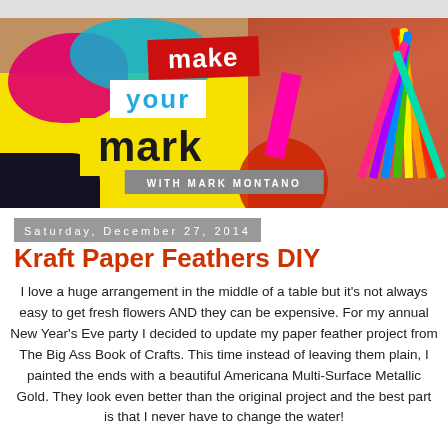[Figure (photo): Banner image for 'Make Your Mark with Mark Montano' craft show. Colorful painted background with yellow, pink, cyan splotches; text overlays reading 'make', 'your', 'mark', 'WITH MARK MONTANO'; pencils and art supplies on right side.]
Saturday, December 27, 2014
Kraft Paper Feathers DIY
I love a huge arrangement in the middle of a table but it's not always easy to get fresh flowers AND they can be expensive.  For my annual New Year's Eve party I decided to update my paper feather project from The Big Ass Book of Crafts.  This time instead of leaving them plain, I painted the ends with a beautiful Americana Multi-Surface Metallic Gold.  They look even better than the original project and the best part is that I never have to change the water!